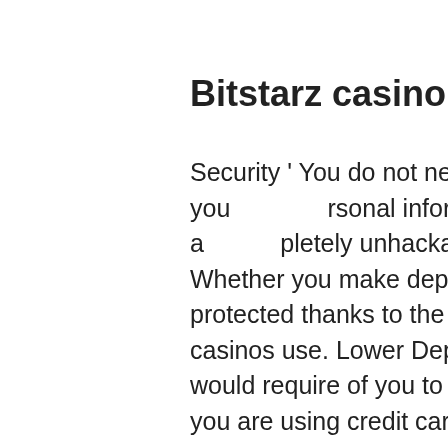Bitstarz casino australia
Security ' You do not need to worry about someone stealing your personal information ' Bitcoin casino sites are completely unhackable, bitstarz casino australia. Whether you make deposits or withdrawals, you are protected thanks to the blockchain technology that Bitcoin casinos use. Lower Deposits ' Traditional online casinos would require of you to deposit at least 30$ or more when you are using credit cards or other types of payment.
Welcome package of up to 7BTC, available for your 4 first deposits, bitstarz casino australia.
In fact, a recent study showed that transfer fees with Bitcoin and crypto could be as much as 90% less than traditional bank transfer fees, bitstarz casino australia. This is
[Figure (other): Blue circular menu icon with three horizontal white lines (hamburger menu button)]